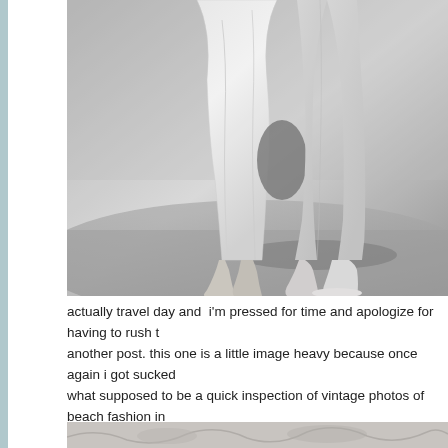[Figure (photo): Black and white vintage photograph showing two people from the waist down standing outdoors. One person wears a light-colored skirt/dress; the other wears light trousers and shoes. Grassy/sandy ground visible.]
actually travel day and  i'm pressed for time and apologize for having to rush this another post. this one is a little image heavy because once again i got sucked into what supposed to be a quick inspection of vintage photos of beach fashion in but opening that door led me to a magnificent (and time consuming) world of beau introduction to photographers, artists and muses.
[Figure (photo): Partial view of another vintage black and white photograph at the bottom of the page.]